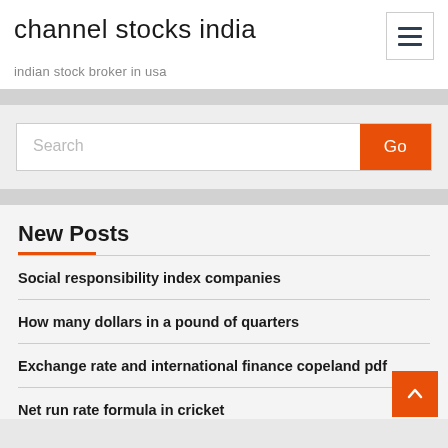channel stocks india
indian stock broker in usa
[Figure (other): Search bar with orange Go button]
New Posts
Social responsibility index companies
How many dollars in a pound of quarters
Exchange rate and international finance copeland pdf
Net run rate formula in cricket